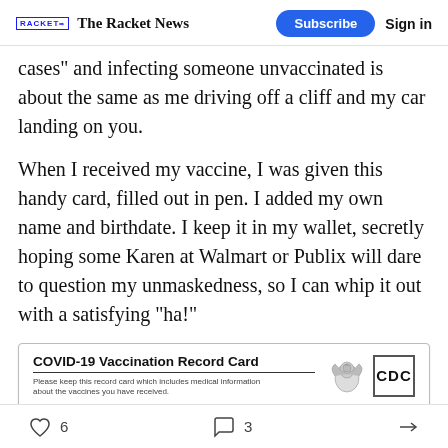The Racket News | Subscribe | Sign in
cases” and infecting someone unvaccinated is about the same as me driving off a cliff and my car landing on you.
When I received my vaccine, I was given this handy card, filled out in pen. I added my own name and birthdate. I keep it in my wallet, secretly hoping some Karen at Walmart or Publix will dare to question my unmaskedness, so I can whip it out with a satisfying “ha!”
[Figure (other): COVID-19 Vaccination Record Card with CDC logo and eagle emblem. Text reads: Please keep this record card which includes medical information about the vaccines you have received.]
6 likes, 3 comments, share